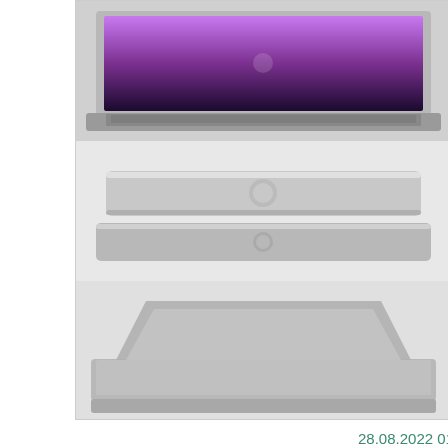[Figure (photo): Three Apple MacBook laptops shown from different angles — open with glowing screen, closed from side, and partially open — arranged vertically in a card with cream background]
28.08.2022 01:52:08
[Figure (photo): A Windows 8 tablet/laptop hybrid with colorful tiled Start screen displayed, shown with keyboard attached]
Stand, Projectors on Renta